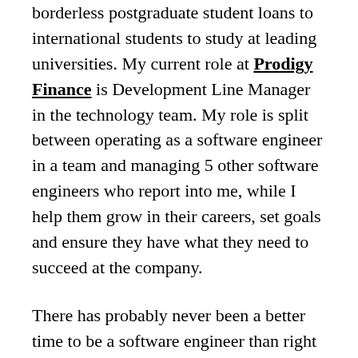borderless postgraduate student loans to international students to study at leading universities. My current role at Prodigy Finance is Development Line Manager in the technology team. My role is split between operating as a software engineer in a team and managing 5 other software engineers who report into me, while I help them grow in their careers, set goals and ensure they have what they need to succeed at the company.
There has probably never been a better time to be a software engineer than right now. Most businesses and organisations across the world make use of technology for their day to day operations. For some of these companies their whole product/business is technology